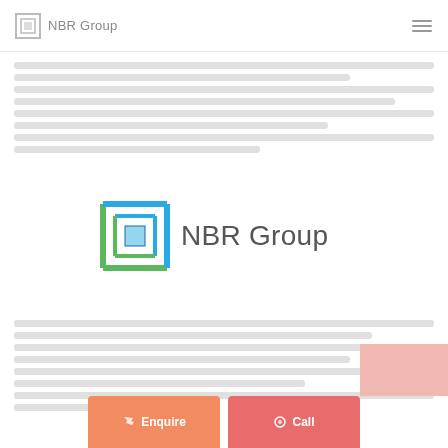NBR Group
[Figure (logo): NBR Group logo centered on page — square bracket icon in blue/green with 'NBR Group' text in dark grey]
Body text lines (faded/blurred placeholder text)
[Figure (other): Salmon/pink call-to-action block bottom right]
[Figure (other): Two call-to-action buttons at bottom: Enquire (orange) and Call (red)]